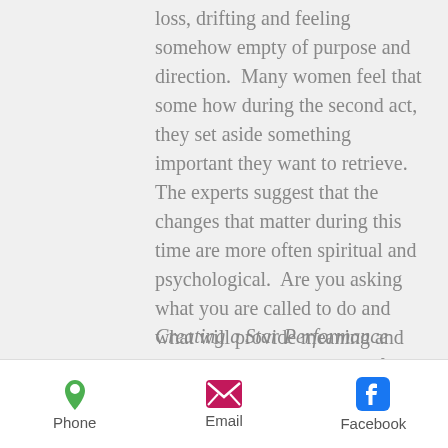loss, drifting and feeling somehow empty of purpose and direction.  Many women feel that some how during the second act, they set aside something important they want to retrieve. The experts suggest that the changes that matter during this time are more often spiritual and psychological.  Are you asking what you are called to do and what will provide meaning and purpose in this next phase of your life?  Is your life fulfilled and guided by your spiritual beliefs?  Are you wondering if you will be satisfied if you quit work and leave your career?
Creating a Star Performance